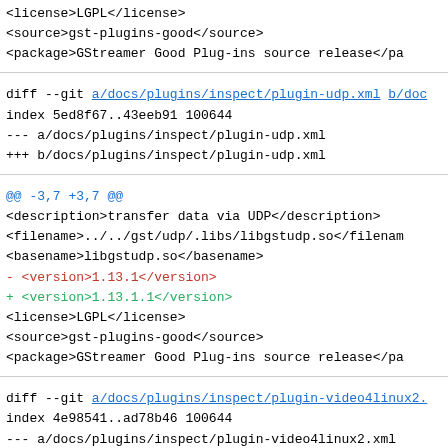<license>LGPL</license>
    <source>gst-plugins-good</source>
    <package>GStreamer Good Plug-ins source release</package>
diff --git a/docs/plugins/inspect/plugin-udp.xml b/docs/plugins/inspect/plugin-udp.xml
index 5ed8f67..43eeb91 100644
--- a/docs/plugins/inspect/plugin-udp.xml
+++ b/docs/plugins/inspect/plugin-udp.xml
@@ -3,7 +3,7 @@
    <description>transfer data via UDP</description>
    <filename>../../gst/udp/.libs/libgstudp.so</filename>
    <basename>libgstudp.so</basename>
-   <version>1.13.1</version>
+   <version>1.13.1.1</version>
    <license>LGPL</license>
    <source>gst-plugins-good</source>
    <package>GStreamer Good Plug-ins source release</package>
diff --git a/docs/plugins/inspect/plugin-video4linux2.
index 4e98541..ad78b46 100644
--- a/docs/plugins/inspect/plugin-video4linux2.xml